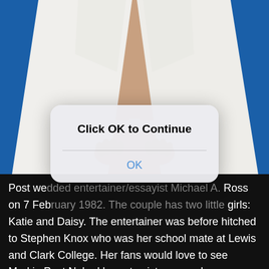[Figure (photo): Person wearing a white blazer jacket open at the front against a blue background, torso visible from chest down.]
[Figure (screenshot): iOS-style modal dialog with bold text 'Click OK to Continue' and a blue 'OK' button below a divider line.]
Post wedded entertainer/essayist Michael A. Ross on 7 February 1982. The couple has two little girls: Katie and Daisy. The entertainer was before hitched to Stephen Knox who was her school mate at Lewis and Clark College. Her fans would love to see Markie Post Naked breasts pictures, and our collection below has some of those too.